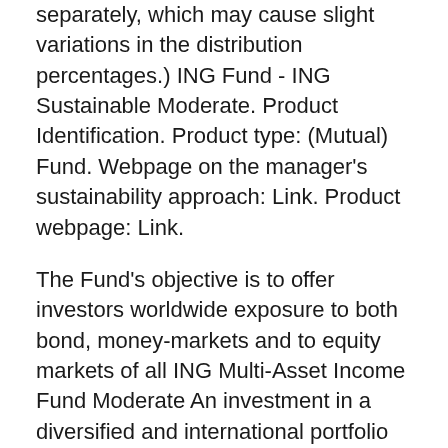separately, which may cause slight variations in the distribution percentages.) ING Fund - ING Sustainable Moderate. Product Identification. Product type: (Mutual) Fund. Webpage on the manager's sustainability approach: Link. Product webpage: Link.
The Fund's objective is to offer investors worldwide exposure to both bond, money-markets and to equity markets of all ING Multi-Asset Income Fund Moderate An investment in a diversified and international portfolio of funds generating income on a regular basis. Français Nederlands Français Nederlands Objectif d'Investissement: ING (B) Collect Portfolio ING Core Fund Moderated Distribution: L'objectif de placement de ce compartiment est basé sur la stratégie Core Range d'ING Belgian Sis...